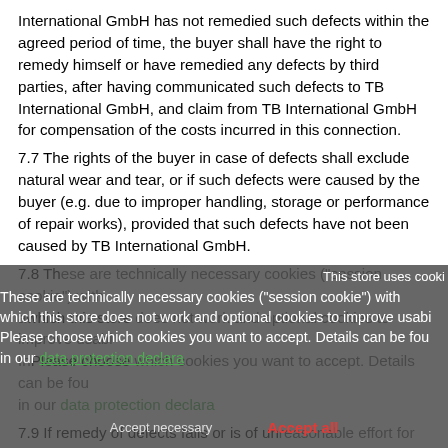International GmbH has not remedied such defects within the agreed period of time, the buyer shall have the right to remedy himself or have remedied any defects by third parties, after having communicated such defects to TB International GmbH, and claim from TB International GmbH for compensation of the costs incurred in this connection.
7.7 The rights of the buyer in case of defects shall exclude natural wear and tear, or if such defects were caused by the buyer (e.g. due to improper handling, storage or performance of repair works), provided that such defects have not been caused by TB International GmbH.
7.8 Th... [partially obscured by cookie banner]
7.9 If remedy of defects fails or is of unreasonable effort for the buyer, or if TB International GmbH refuses to perform remedy in accordance with § 439 para. 3 BGB [German Civil Code], the buyer may, at his option, (i) withdraw from the contract or reduce the purchase price, and (ii) claim for compensation according to
Cookie banner: This store uses cookies. These are technically necessary cookies ("session cookie") without which this store does not work and optional cookies to improve usability. Please choose which cookies you want to accept. Details can be found in our data protection declaration.